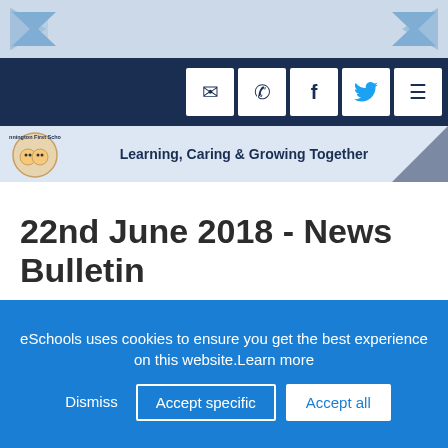[Figure (screenshot): School website header with decorative chevron banner, dark navy icon bar with email, phone, facebook, twitter, and menu icons, and school logo bar with motto]
22nd June 2018 - News Bulletin
eSchools uses cookies to ensure you get the best experience on this website.Learn more
Dismiss | Accept specific | Accept all